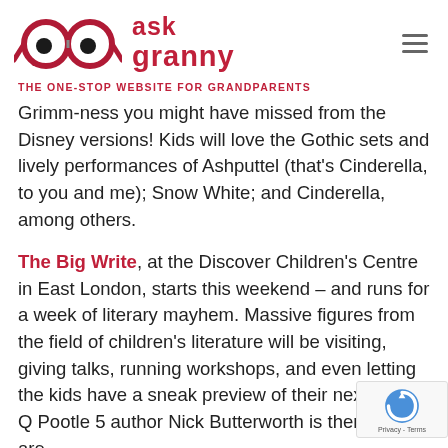[Figure (logo): Ask Granny logo: red glasses illustration with 'ask granny' in red bold text beside it, and a hamburger menu icon on the right]
THE ONE-STOP WEBSITE FOR GRANDPARENTS
Grimm-ness you might have missed from the Disney versions! Kids will love the Gothic sets and lively performances of Ashputtel (that's Cinderella, to you and me); Snow White; and Cinderella, among others.
The Big Write, at the Discover Children's Centre in East London, starts this weekend – and runs for a week of literary mayhem. Massive figures from the field of children's literature will be visiting, giving talks, running workshops, and even letting the kids have a sneak preview of their next work. Q Pootle 5 author Nick Butterworth is there – as are